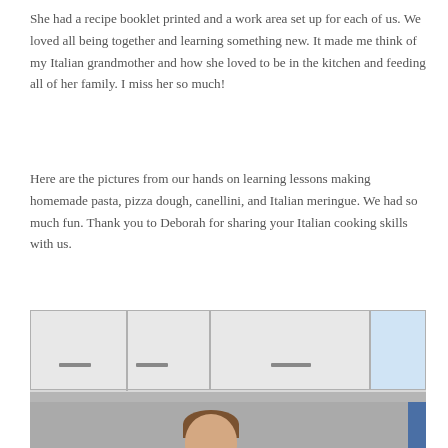She had a recipe booklet printed and a work area set up for each of us. We loved all being together and learning something new. It made me think of my Italian grandmother and how she loved to be in the kitchen and feeding all of her family. I miss her so much!
Here are the pictures from our hands on learning lessons making homemade pasta, pizza dough, canellini, and Italian meringue. We had so much fun. Thank you to Deborah for sharing your Italian cooking skills with us.
[Figure (photo): A woman with her hair pulled back, wearing a dark jacket, standing in a kitchen with white upper cabinets. She appears to be looking down, possibly at a work surface. The right side of the image shows a blue wall or door.]